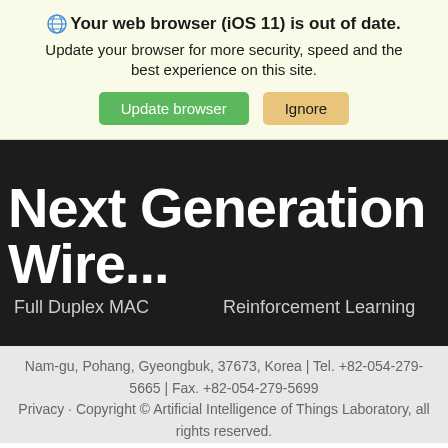🌐 Your web browser (iOS 11) is out of date. Update your browser for more security, speed and the best experience on this site.
Update browser | Ignore
Next Generation Wire...
Full Duplex MAC    Reinforcement Learning
Nam-gu, Pohang, Gyeongbuk, 37673, Korea | Tel. +82-054-279-5665 | Fax. +82-054-279-5699
Privacy · Copyright © Artificial Intelligence of Things Laboratory, all rights reserved.